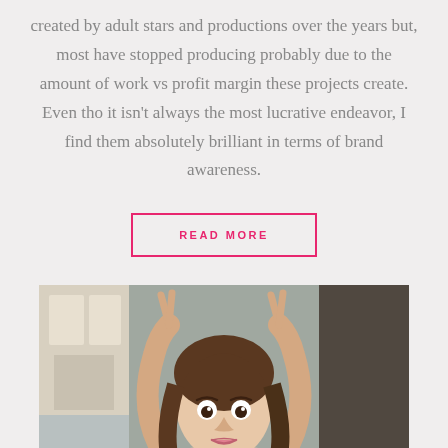created by adult stars and productions over the years but, most have stopped producing probably due to the amount of work vs profit margin these projects create. Even tho it isn't always the most lucrative endeavor, I find them absolutely brilliant in terms of brand awareness.
READ MORE
[Figure (photo): Photo of a young woman with dark hair, making bunny ears with her hands behind her head, in a kitchen setting]